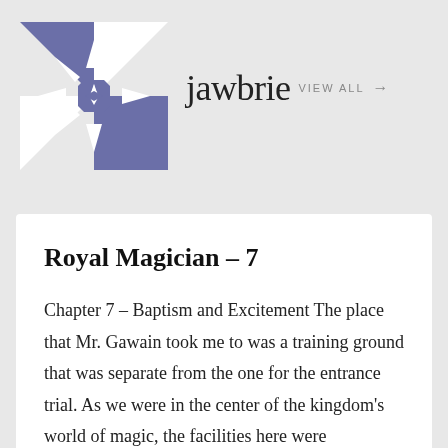[Figure (logo): Jawbrie website logo: a blue and white geometric star/quilt pattern on a square background]
jawbrie  VIEW ALL →
Royal Magician – 7
Chapter 7 – Baptism and Excitement The place that Mr. Gawain took me to was a training ground that was separate from the one for the entrance trial. As we were in the center of the kingdom's world of magic, the facilities here were substantial